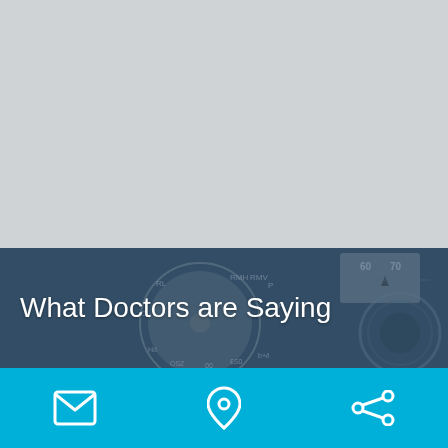[Figure (photo): Gray placeholder area representing the top portion of the page, likely where a header image would appear.]
[Figure (photo): Dark blue-tinted photo of a medical or camera dial/meter device showing RMH, RMV, RL, P, R markings and measurement scales (60, 70), with a lens visible on the right side. Semi-transparent dark overlay applied.]
What Doctors are Saying
[Figure (infographic): Cyan/turquoise footer bar with three white icons: an envelope/email icon on the left, a location pin icon in the center, and a share/network icon on the right, separated by vertical dividers.]